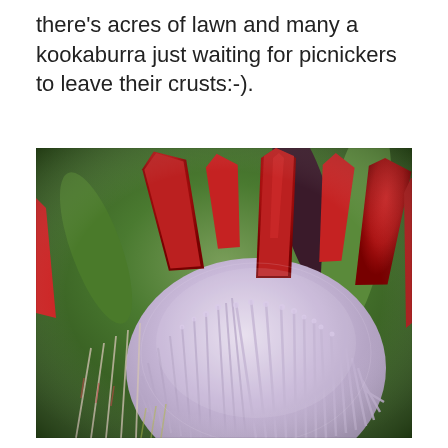there's acres of lawn and many a kookaburra just waiting for picnickers to leave their crusts:-).
[Figure (photo): Close-up macro photograph of a King Protea flower in bloom, showing dense pale lavender-white fuzzy stamens in the center dome and large pointed deep red/crimson bracts radiating outward, with green and dark foliage in the background.]